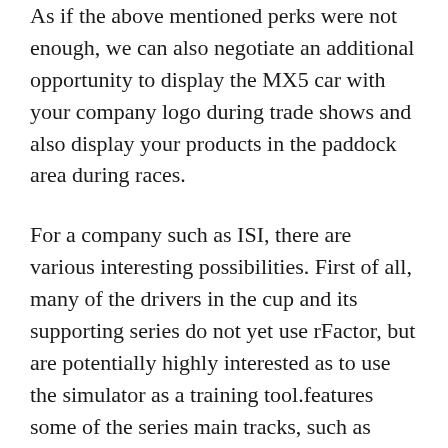As if the above mentioned perks were not enough, we can also negotiate an additional opportunity to display the MX5 car with your company logo during trade shows and also display your products in the paddock area during races.
For a company such as ISI, there are various interesting possibilities. First of all, many of the drivers in the cup and its supporting series do not yet use rFactor, but are potentially highly interested as to use the simulator as a training tool.features some of the series main tracks, such as Zandvoort and Zolder. There could be the possibility to set-up a simulator in the paddock, allowing the series drivers and fans to use the simulator.